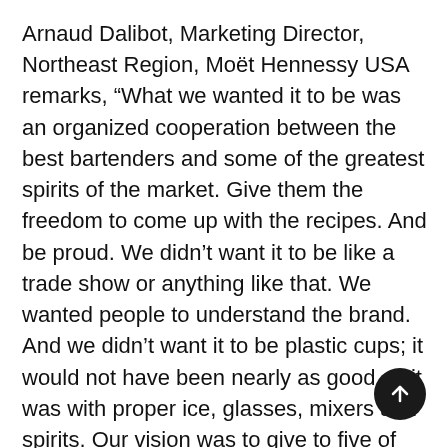Arnaud Dalibot, Marketing Director, Northeast Region, Moët Hennessy USA remarks, “What we wanted it to be was an organized cooperation between the best bartenders and some of the greatest spirits of the market. Give them the freedom to come up with the recipes. And be proud. We didn’t want it to be like a trade show or anything like that. We wanted people to understand the brand. And we didn’t want it to be plastic cups; it would not have been nearly as good as it was with proper ice, glasses, mixers and spirits. Our vision was to give to five of the most talented bartenders in the US the opportunity to uphold the level of sophistication that they maintain in their own bar, with the highest quality hand-cracked ice, proper glassware, fresh